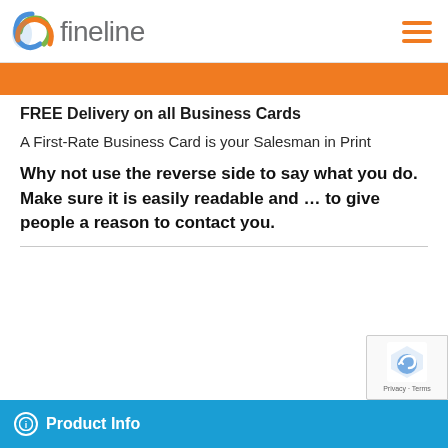[Figure (logo): Fineline company logo with colorful swirl icon and grey 'fineline' wordmark, plus orange hamburger menu icon top right]
[Figure (other): Orange banner bar]
FREE Delivery on all Business Cards
A First-Rate Business Card is your Salesman in Print
Why not use the reverse side to say what you do. Make sure it is easily readable and … to give people a reason to contact you.
Product Info